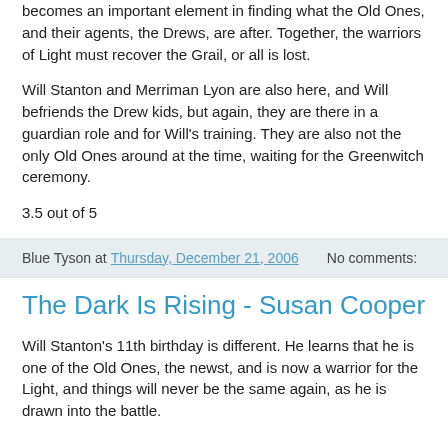becomes an important element in finding what the Old Ones, and their agents, the Drews, are after. Together, the warriors of Light must recover the Grail, or all is lost.
Will Stanton and Merriman Lyon are also here, and Will befriends the Drew kids, but again, they are there in a guardian role and for Will's training. They are also not the only Old Ones around at the time, waiting for the Greenwitch ceremony.
3.5 out of 5
Blue Tyson at Thursday, December 21, 2006    No comments:
The Dark Is Rising - Susan Cooper
Will Stanton's 11th birthday is different. He learns that he is one of the Old Ones, the newst, and is now a warrior for the Light, and things will never be the same again, as he is drawn into the battle.